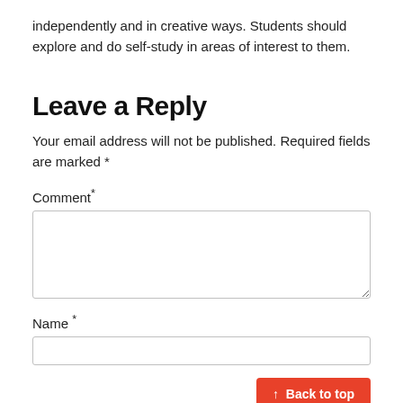independently and in creative ways. Students should explore and do self-study in areas of interest to them.
Leave a Reply
Your email address will not be published. Required fields are marked *
Comment*
Name *
↑ Back to top